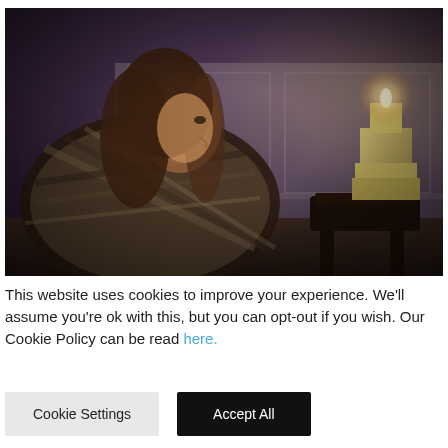[Figure (photo): A woman with long brown hair wearing a plaid/striped blanket wrap sits in a dimly lit room, looking to the right. On her right side (left of frame's right side) is a dark wooden stool with a tall rectangular candle holder on top, with a lit candle glowing at the top. The room has paneled walls and a purple/dark ceiling.]
This website uses cookies to improve your experience. We'll assume you're ok with this, but you can opt-out if you wish. Our Cookie Policy can be read here.